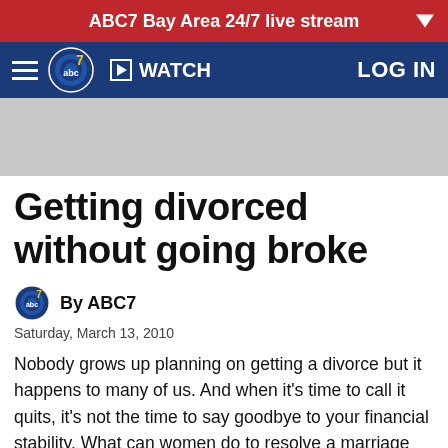ABC7 Bay Area 24/7 live stream
[Figure (logo): ABC7 navigation bar with hamburger menu, ABC7 logo, WATCH button, and LOG IN link on dark blue background]
[Figure (other): Gray advertisement placeholder banner]
Getting divorced without going broke
By ABC7
Saturday, March 13, 2010
Nobody grows up planning on getting a divorce but it happens to many of us. And when it's time to call it quits, it's not the time to say goodbye to your financial stability. What can women do to resolve a marriage without divorcing their